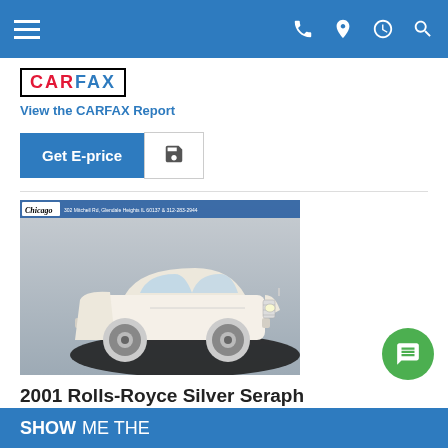Navigation bar with hamburger menu, phone, location, clock, and search icons
[Figure (logo): CARFAX logo in black bordered box with red and blue letters]
View the CARFAX Report
Get E-price | Save icon button
[Figure (photo): 2001 Rolls-Royce Silver Seraph, cream/white color, parked on a dark turntable against a grey studio background. Dealership overlay bar at top reads Chicago with address details.]
2001 Rolls-Royce Silver Seraph
#SH0036, 35,234 mi
$59,999
SHOW ME THE